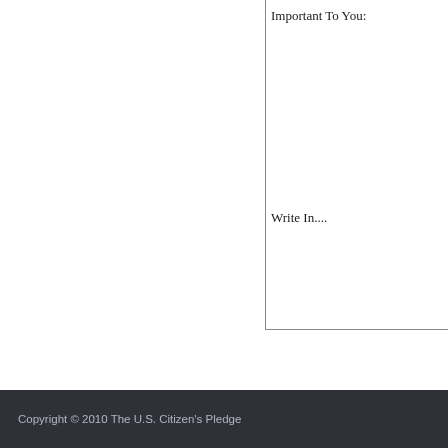Important To You:
Write In....
Copyright © 2010 The U.S. Citizen's Pledge